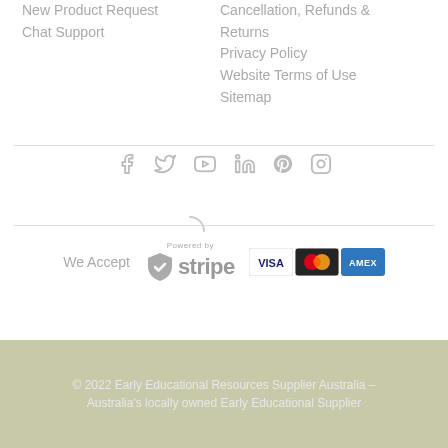New Product Request
Chat Support
Cancellation, Refunds & Returns
Privacy Policy
Website Terms of Use
Sitemap
[Figure (infographic): Social media icons: Facebook, Twitter, YouTube, LinkedIn, Pinterest, Instagram]
[Figure (logo): We Accept - Powered by Stripe logo with shield checkmark, and Visa, Mastercard, Amex card icons]
© 2022 Early Educational Resources Supplier Australia – Australia's locally owned Early Educational Supplier